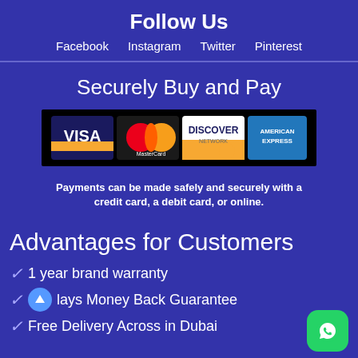Follow Us
Facebook   Instagram   Twitter   Pinterest
Securely Buy and Pay
[Figure (illustration): Payment logos banner showing VISA, MasterCard, DISCOVER, and AMERICAN EXPRESS cards on a black background]
Payments can be made safely and securely with a credit card, a debit card, or online.
Advantages for Customers
1 year brand warranty
days Money Back Guarantee
Free Delivery Across in Dubai